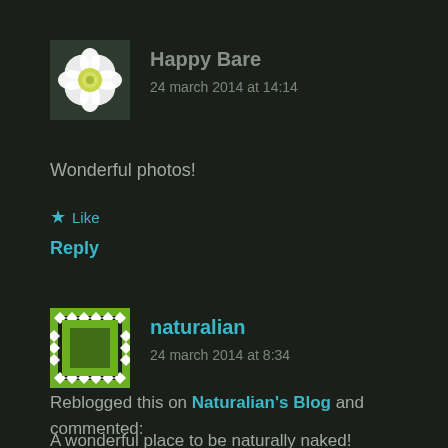[Figure (photo): Avatar of Happy Bare: white flower with green background]
Happy Bare
24 march 2014 at 14:14
Wonderful photos!
★ Like
Reply
[Figure (illustration): Avatar of naturalian: green and white diamond pattern square]
naturalian
24 march 2014 at 8:34
Reblogged this on Naturalian's Blog and commented:
A wonderful place to be naturally naked!